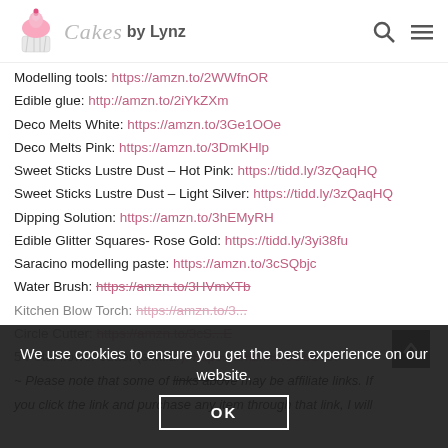Cakes by Lynz
Modelling tools: https://amzn.to/2WWfnOR
Edible glue: http://amzn.to/2iYkZXm
Deco Melts White: https://amzn.to/3Ge1OOe
Deco Melts Pink: https://amzn.to/3DmKHlp
Sweet Sticks Lustre Dust – Hot Pink: https://tidd.ly/3zQaqHQ
Sweet Sticks Lustre Dust – Light Silver: https://tidd.ly/3zQaqHQ
Dipping Solution: https://amzn.to/3hEMyRH
Edible Glitter Squares- Rose Gold: https://tidd.ly/3yi38fu
Saracino modelling paste: https://amzn.to/3cSQbjc
Water Brush: https://amzn.to/3HVmXTb
Kitchen Blow Torch: https://amzn.to/...
Circle Cutter: https://amzn.to/...
5 Petal flower cutter (similar): https://amzn.to/3ObSvot
~ Please note that some of links above may be affiliate links. If you click the link and purchase any item through that link, I will
We use cookies to ensure you get the best experience on our website.